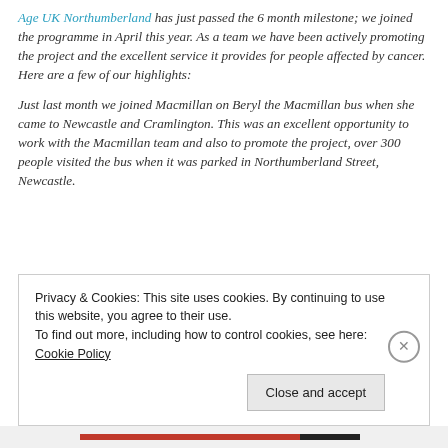Age UK Northumberland has just passed the 6 month milestone; we joined the programme in April this year. As a team we have been actively promoting the project and the excellent service it provides for people affected by cancer. Here are a few of our highlights:
Just last month we joined Macmillan on Beryl the Macmillan bus when she came to Newcastle and Cramlington. This was an excellent opportunity to work with the Macmillan team and also to promote the project, over 300 people visited the bus when it was parked in Northumberland Street, Newcastle.
Privacy & Cookies: This site uses cookies. By continuing to use this website, you agree to their use. To find out more, including how to control cookies, see here: Cookie Policy
Close and accept